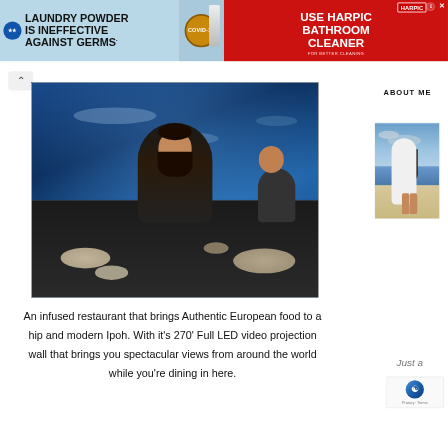[Figure (photo): Advertisement banner: left half shows 'Laundry Powder is Ineffective Against Germs' on blue background with COVID-19 badge; right half shows 'Use Harpic Bathroom Cleaner' on red background with Harpic logo]
[Figure (photo): Woman dining at a restaurant with large aquarium wall in the background showing fish]
An infused restaurant that brings Authentic European food to a hip and modern Ipoh. With it's 270' Full LED video projection wall that brings you spectacular views from around the world while you're dining in here.
ABOUT ME
[Figure (photo): Woman in white outfit standing on a beach]
Just a g
[Figure (other): reCAPTCHA widget showing robot icon and Privacy - Terms text]